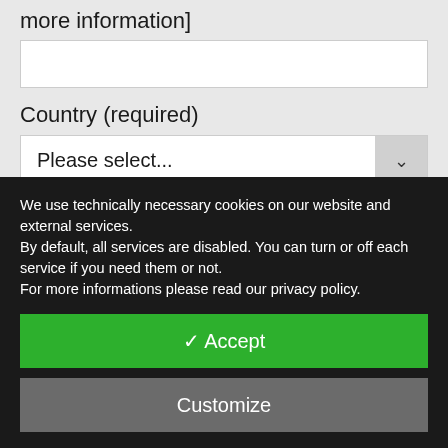more information]
Country (required)
Please select...
You can leave a message here (optional)
We use technically necessary cookies on our website and external services.
By default, all services are disabled. You can turn or off each service if you need them or not.
For more informations please read our privacy policy.
✓ Accept
Customize